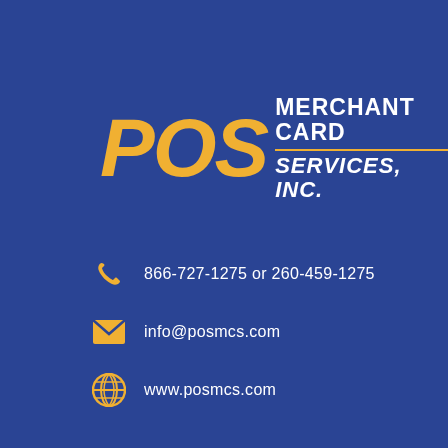[Figure (logo): POS Merchant Card Services, Inc. logo with large gold italic POS text and white MERCHANT CARD / SERVICES, INC. text on blue background]
866-727-1275 or 260-459-1275
info@posmcs.com
www.posmcs.com